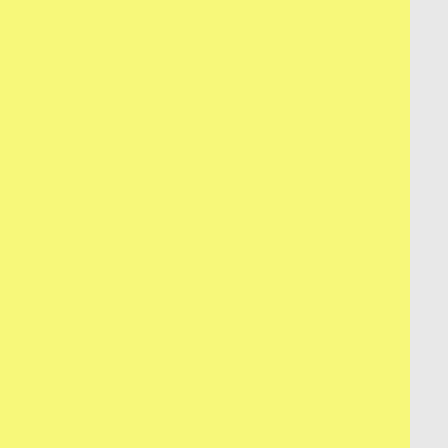[Figure (other): Yellow/cream textured background occupying left two-thirds of the page]
na Hotel 1913 New York Transatlantic Dallas November 1963 London 159